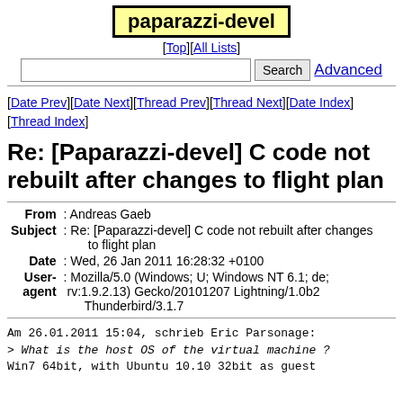paparazzi-devel
[Top][All Lists]
Search  Advanced
[Date Prev][Date Next][Thread Prev][Thread Next][Date Index][Thread Index]
Re: [Paparazzi-devel] C code not rebuilt after changes to flight plan
| Field | Value |
| --- | --- |
| From | Andreas Gaeb |
| Subject | Re: [Paparazzi-devel] C code not rebuilt after changes to flight plan |
| Date | Wed, 26 Jan 2011 16:28:32 +0100 |
| User-agent | Mozilla/5.0 (Windows; U; Windows NT 6.1; de; rv:1.9.2.13) Gecko/20101207 Lightning/1.0b2 Thunderbird/3.1.7 |
Am 26.01.2011 15:04, schrieb Eric Parsonage:
> What is the host OS of the virtual machine ?
Win7 64bit, with Ubuntu 10.10 32bit as guest